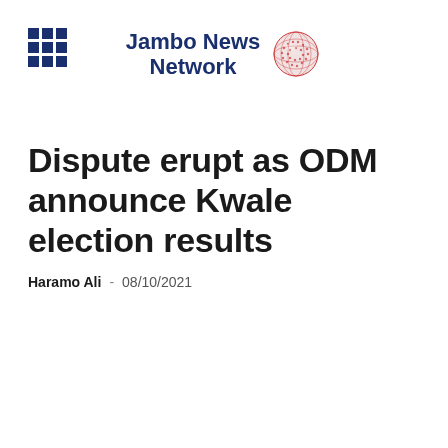Jambo News Network
Dispute erupt as ODM announce Kwale election results
Haramo Ali  -  08/10/2021